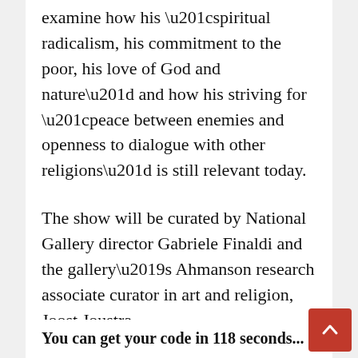examine how his “spiritual radicalism, his commitment to the poor, his love of God and nature” and how his striving for “peace between enemies and openness to dialogue with other religions” is still relevant today.
The show will be curated by National Gallery director Gabriele Finaldi and the gallery’s Ahmanson research associate curator in art and religion, Joost Joustra.
It will be accompanied by an illustrated publication and a program of lectures, events, activities and digital content.
You can get your code in 118 seconds...